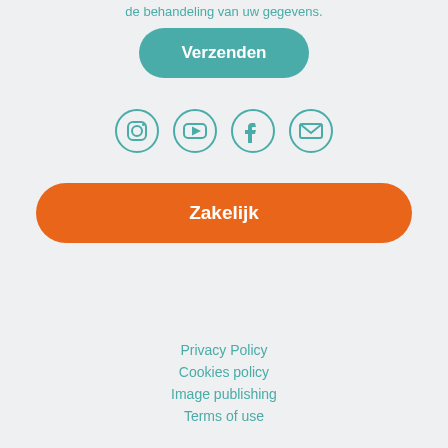de behandeling van uw gegevens.
[Figure (other): Teal rounded button labeled 'Verzenden']
[Figure (other): Social media icons: Instagram, YouTube, Facebook, Email — teal outlined circles]
[Figure (other): Orange rounded button labeled 'Zakelijk']
Privacy Policy
Cookies policy
Image publishing
Terms of use